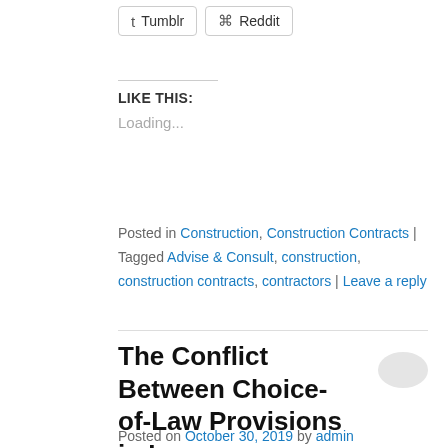Tumblr  Reddit (share buttons)
LIKE THIS:
Loading...
Posted in Construction, Construction Contracts | Tagged Advise & Consult, construction, construction contracts, contractors | Leave a reply
The Conflict Between Choice-of-Law Provisions in Insurance Policies and a State's Fundamental Public Policy
Posted on October 30, 2019 by admin